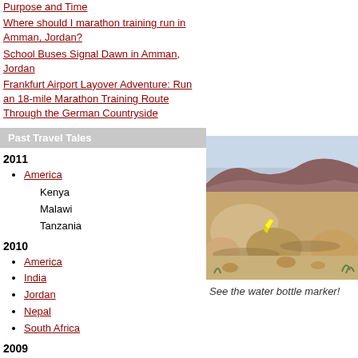Purpose and Time
Where should I marathon training run in Amman, Jordan?
School Buses Signal Dawn in Amman, Jordan
Frankfurt Airport Layover Adventure: Run an 18-mile Marathon Training Route Through the German Countryside
Past Travel Tales
2011
America
Kenya
Malawi
Tanzania
2010
America
India
Jordan
Nepal
South Africa
2009
America
Ghana
Kenya
Nigeria
2008
[Figure (photo): Rocky desert landscape with boulders and reddish hills in the background, with a yellow water bottle marker visible on a rock]
See the water bottle marker!